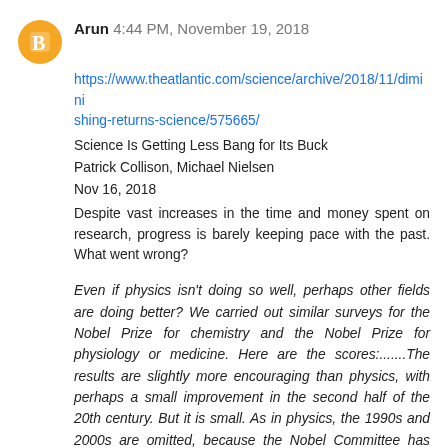Arun  4:44 PM, November 19, 2018
https://www.theatlantic.com/science/archive/2018/11/diminishing-returns-science/575665/
Science Is Getting Less Bang for Its Buck
Patrick Collison, Michael Nielsen
Nov 16, 2018
Despite vast increases in the time and money spent on research, progress is barely keeping pace with the past. What went wrong?
Even if physics isn't doing so well, perhaps other fields are doing better? We carried out similar surveys for the Nobel Prize for chemistry and the Nobel Prize for physiology or medicine. Here are the scores:.......The results are slightly more encouraging than physics, with perhaps a small improvement in the second half of the 20th century. But it is small. As in physics, the 1990s and 2000s are omitted, because the Nobel Committee has strongly preferred earlier work: Fewer prizes were awarded for work done in the 1990s and 2000s than over any similar window in earlier decades.